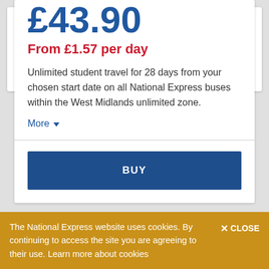£43.90
From £1.57 per day
Unlimited student travel for 28 days from your chosen start date on all National Express buses within the West Midlands unlimited zone.
More
BUY
nBus Student Black Country Monthly Subscription
The National Express website uses cookies. By continuing to access the site you are agreeing to their use. Learn more about cookies